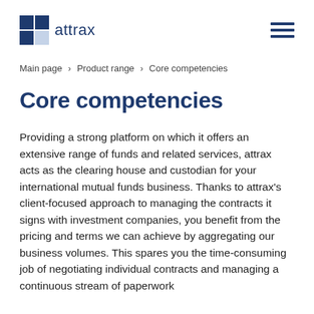attrax
Main page › Product range › Core competencies
Core competencies
Providing a strong platform on which it offers an extensive range of funds and related services, attrax acts as the clearing house and custodian for your international mutual funds business. Thanks to attrax's client-focused approach to managing the contracts it signs with investment companies, you benefit from the pricing and terms we can achieve by aggregating our business volumes. This spares you the time-consuming job of negotiating individual contracts and managing a continuous stream of paperwork